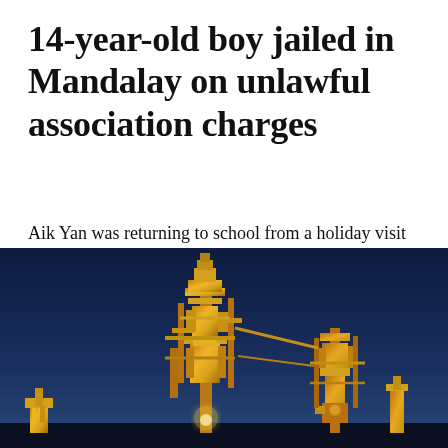14-year-old boy jailed in Mandalay on unlawful association charges
Aik Yan was returning to school from a holiday visit to his family in the Shan hills when he encountered some soldiers. Now he is making history as a resident of a children's detention centre.
[Figure (photo): Industrial facility or refinery structures photographed at dusk/night, illuminated in golden light against a deep blue sky. Tall complex metallic towers and piping systems are visible.]